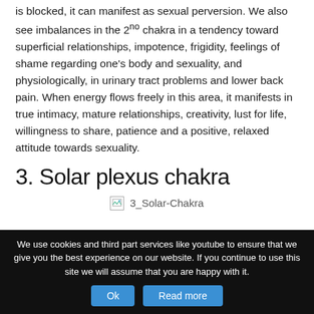is blocked, it can manifest as sexual perversion. We also see imbalances in the 2ⁿᵒ chakra in a tendency toward superficial relationships, impotence, frigidity, feelings of shame regarding one's body and sexuality, and physiologically, in urinary tract problems and lower back pain. When energy flows freely in this area, it manifests in true intimacy, mature relationships, creativity, lust for life, willingness to share, patience and a positive, relaxed attitude towards sexuality.
3. Solar plexus chakra
[Figure (illustration): Broken image placeholder with label '3_Solar-Chakra']
We use cookies and third part services like youtube to ensure that we give you the best experience on our website. If you continue to use this site we will assume that you are happy with it.